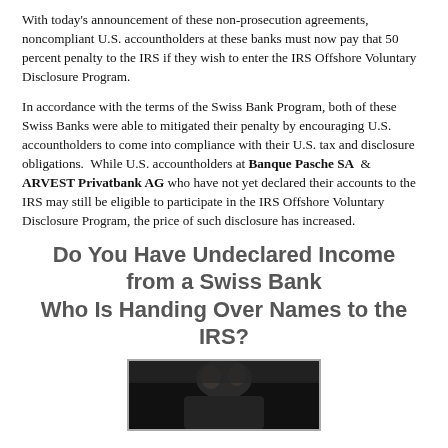With today's announcement of these non-prosecution agreements, noncompliant U.S. accountholders at these banks must now pay that 50 percent penalty to the IRS if they wish to enter the IRS Offshore Voluntary Disclosure Program.
In accordance with the terms of the Swiss Bank Program, both of these Swiss Banks were able to mitigated their penalty by encouraging U.S. accountholders to come into compliance with their U.S. tax and disclosure obligations.  While U.S. accountholders at Banque Pasche SA  & ARVEST Privatbank AG who have not yet declared their accounts to the IRS may still be eligible to participate in the IRS Offshore Voluntary Disclosure Program, the price of such disclosure has increased.
Do You Have Undeclared Income from a Swiss Bank Who Is Handing Over Names to the IRS?
[Figure (photo): A photograph of what appears to be a person in dark clothing, partially visible at the bottom of the page.]